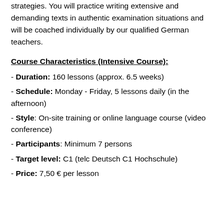strategies. You will practice writing extensive and demanding texts in authentic examination situations and will be coached individually by our qualified German teachers.
Course Characteristics (Intensive Course):
- Duration: 160 lessons (approx. 6.5 weeks)
- Schedule: Monday - Friday, 5 lessons daily (in the afternoon)
- Style: On-site training or online language course (video conference)
- Participants: Minimum 7 persons
- Target level: C1 (telc Deutsch C1 Hochschule)
- Price: 7,50 € per lesson